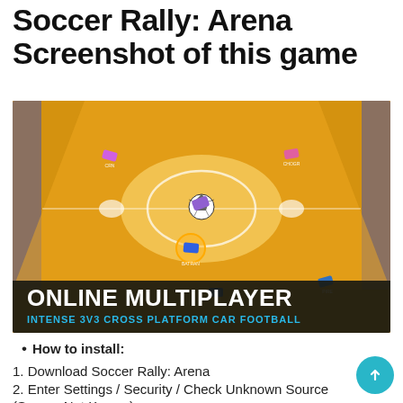Soccer Rally: Arena Screenshot of this game
[Figure (screenshot): Screenshot of Soccer Rally Arena game showing top-down view of car soccer field with orange/wooden court, several cars and a soccer ball. Bottom banner reads 'ONLINE MULTIPLAYER' and 'INTENSE 3V3 CROSS PLATFORM CAR FOOTBALL']
How to install:
1. Download Soccer Rally: Arena
2. Enter Settings / Security / Check Unknown Source (Source Not Known)